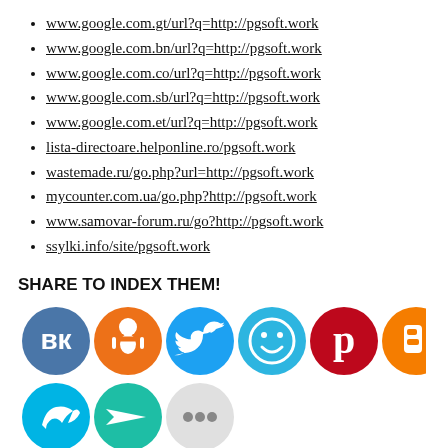www.google.com.gt/url?q=http://pgsoft.work
www.google.com.bn/url?q=http://pgsoft.work
www.google.com.co/url?q=http://pgsoft.work
www.google.com.sb/url?q=http://pgsoft.work
www.google.com.et/url?q=http://pgsoft.work
lista-directoare.helponline.ro/pgsoft.work
wastemade.ru/go.php?url=http://pgsoft.work
mycounter.com.ua/go.php?http://pgsoft.work
www.samovar-forum.ru/go?http://pgsoft.work
ssylki.info/site/pgsoft.work
SHARE TO INDEX THEM!
[Figure (infographic): Row of social media share buttons: VK (blue), Odnoklassniki (orange), Twitter (light blue), a smiley face (cyan-blue), Pinterest (dark red), Blogger (orange). Second row: Livejournal bird (cyan), Send (teal arrow), More (grey dots).]